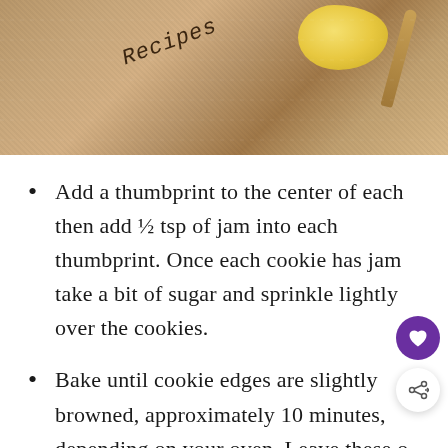[Figure (photo): A wooden cutting board with text 'recipes' engraved or written on it, a stick of butter, and a wooden spoon, photographed from above on a textured surface.]
Add a thumbprint to the center of each then add ½ tsp of jam into each thumbprint. Once each cookie has jam take a bit of sugar and sprinkle lightly over the cookies.
Bake until cookie edges are slightly browned, approximately 10 minutes, depending on your oven. Leave these on that cookie sheet for a minute or two to start cooling, then move them to a